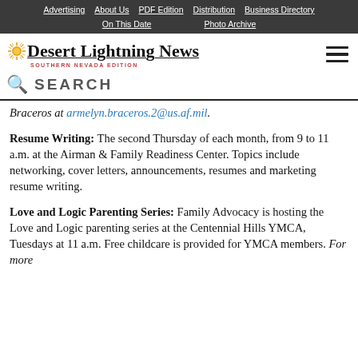Advertising | About Us | PDF Edition | Distribution | Business Directory | On This Date | Photo Archive
Desert Lightning News
SEARCH
Braceros at armelyn.braceros.2@us.af.mil.
Resume Writing: The second Thursday of each month, from 9 to 11 a.m. at the Airman & Family Readiness Center. Topics include networking, cover letters, announcements, resumes and marketing resume writing.
Love and Logic Parenting Series: Family Advocacy is hosting the Love and Logic parenting series at the Centennial Hills YMCA, Tuesdays at 11 a.m. Free childcare is provided for YMCA members. For more